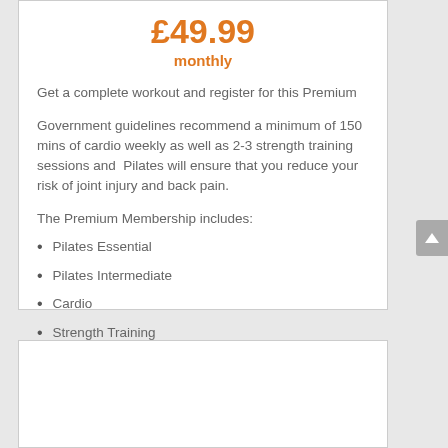£49.99
monthly
Get a complete workout and register for this Premium
Government guidelines recommend a minimum of 150 mins of cardio weekly as well as 2-3 strength training sessions and  Pilates will ensure that you reduce your risk of joint injury and back pain.
The Premium Membership includes:
Pilates Essential
Pilates Intermediate
Cardio
Strength Training